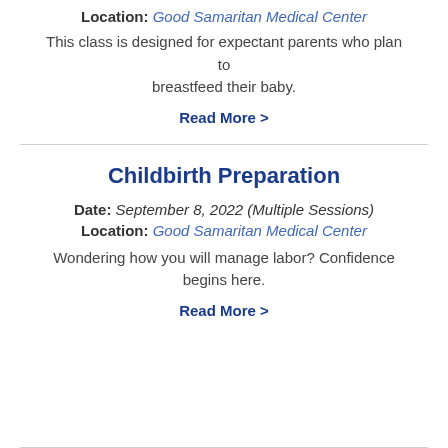Location: Good Samaritan Medical Center
This class is designed for expectant parents who plan to breastfeed their baby.
Read More >
Childbirth Preparation
Date: September 8, 2022 (Multiple Sessions)
Location: Good Samaritan Medical Center
Wondering how you will manage labor? Confidence begins here.
Read More >